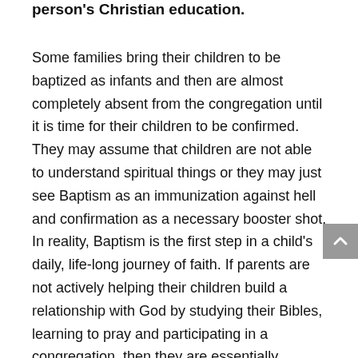person's Christian education.
Some families bring their children to be baptized as infants and then are almost completely absent from the congregation until it is time for their children to be confirmed. They may assume that children are not able to understand spiritual things or they may just see Baptism as an immunization against hell and confirmation as a necessary booster shot. In reality, Baptism is the first step in a child's daily, life-long journey of faith. If parents are not actively helping their children build a relationship with God by studying their Bibles, learning to pray and participating in a congregation, then they are essentially teaching their children that these things are not important. Prov. 22:6 tells us, "Train up a child in the way he